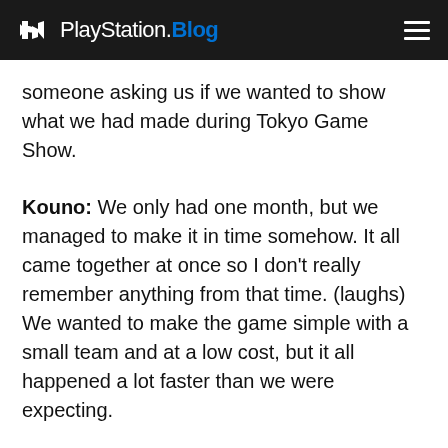PlayStation.Blog
someone asking us if we wanted to show what we had made during Tokyo Game Show.
Kouno: We only had one month, but we managed to make it in time somehow. It all came together at once so I don't really remember anything from that time. (laughs) We wanted to make the game simple with a small team and at a low cost, but it all happened a lot faster than we were expecting.